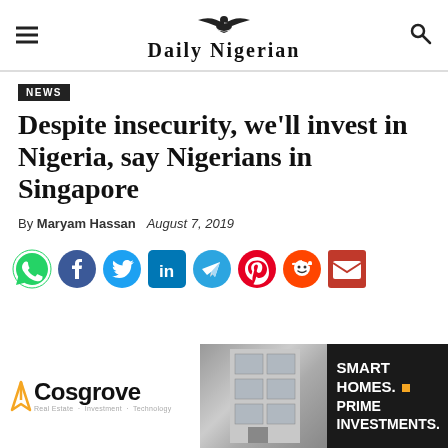Daily Nigerian
NEWS
Despite insecurity, we'll invest in Nigeria, say Nigerians in Singapore
By Maryam Hassan   August 7, 2019
[Figure (infographic): Social media share icons: WhatsApp, Facebook, Twitter, LinkedIn, Telegram, Pinterest, Reddit, Email]
[Figure (infographic): Cosgrove real estate advertisement banner showing building photo with text: SMART HOMES. PRIME INVESTMENTS.]